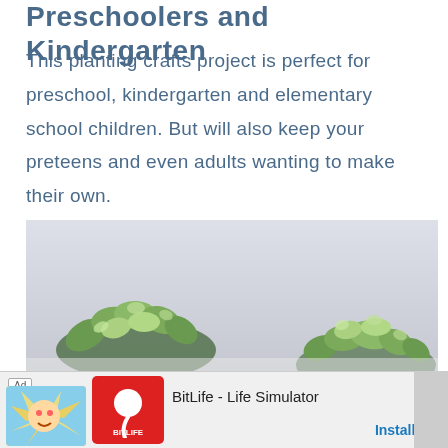Preschoolers and Kindergarten
This planting crafts project is perfect for preschool, kindergarten and elementary school children. But will also keep your preteens and even adults wanting to make their own.
[Figure (photo): Close-up photo of green succulent plants against a light gray/white blurred background]
Ad  BitLife - Life Simulator  Install!